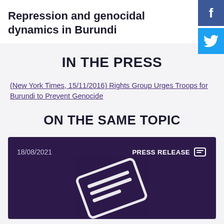Repression and genocidal dynamics in Burundi
IN THE PRESS
(New York Times, 15/11/2016) Rights Group Urges Troops for Burundi to Prevent Genocide
ON THE SAME TOPIC
[Figure (screenshot): Dark purple press release card showing date 18/08/2021, label PRESS RELEASE with icon, and a large press release/ticket icon in the center]